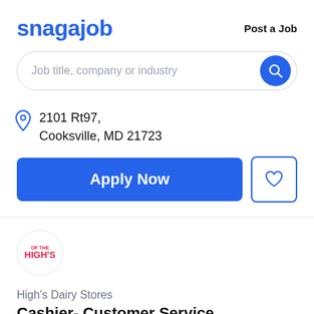snagajob
Post a Job
Job title, company or industry
2101 Rt97,
Cooksville, MD 21723
Apply Now
[Figure (logo): High's Dairy Stores logo - circular badge with red HIGH'S text]
High's Dairy Stores
Cashier- Customer Service Representative